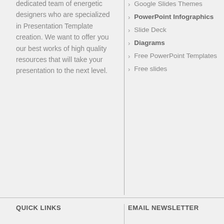dedicated team of energetic designers who are specialized in Presentation Template creation. We want to offer you our best works of high quality resources that will take your presentation to the next level.
Google Slides Themes
PowerPoint Infographics
Slide Deck
Diagrams
Free PowerPoint Templates
Free slides
QUICK LINKS
EMAIL NEWSLETTER